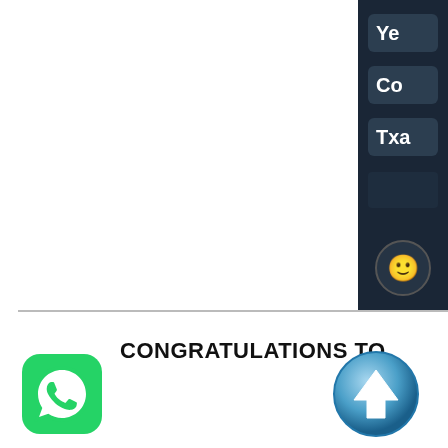[Figure (screenshot): Screenshot of a chat/messaging app with dark panel on right showing partial words 'Ye', 'Co', 'Txa' as autocomplete suggestions, and a smiley emoji button at bottom of dark panel]
CONGRATULATIONS TO
D
[Figure (logo): WhatsApp logo: green rounded square with white phone/chat icon]
[Figure (other): Blue circular up-arrow button]